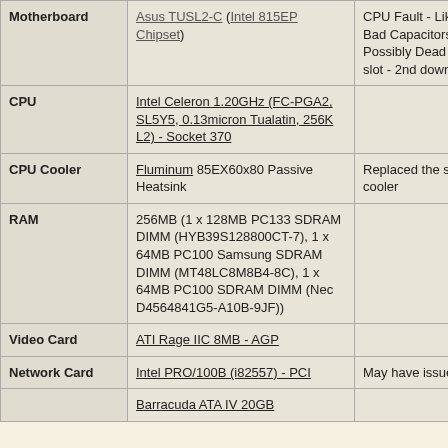| Component | Part | Notes |
| --- | --- | --- |
| Motherboard | Asus TUSL2-C (Intel 815EP Chipset) | CPU Fault - Likely Bad Capacitors & Possibly Dead PCI slot - 2nd down |
| CPU | Intel Celeron 1.20GHz (FC-PGA2, SL5Y5, 0.13micron Tualatin, 256K L2) - Socket 370 |  |
| CPU Cooler | Fluminum 85EX60x80 Passive Heatsink | Replaced the stock cooler |
| RAM | 256MB (1 x 128MB PC133 SDRAM DIMM (HYB39S128800CT-7), 1 x 64MB PC100 Samsung SDRAM DIMM (MT48LC8M8B4-8C), 1 x 64MB PC100 SDRAM DIMM (Nec D4564841G5-A10B-9JF)) |  |
| Video Card | ATI Rage IIC 8MB - AGP |  |
| Network Card | Intel PRO/100B (i82557) - PCI | May have issues? |
|  | Barracuda ATA IV 20GB |  |